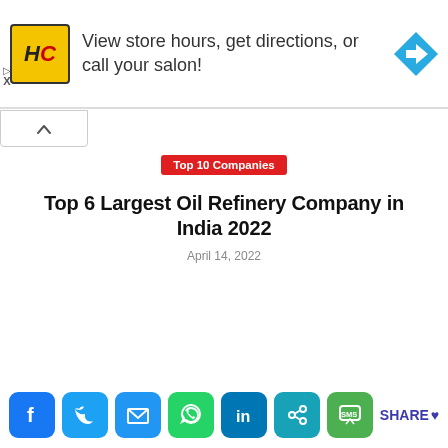[Figure (infographic): Advertisement banner with HC salon logo (yellow square with HC text), text 'View store hours, get directions, or call your salon!' and a blue navigation arrow icon on the right. Play and X controls on left side.]
Top 10 Companies
Top 6 Largest Oil Refinery Company in India 2022
April 14, 2022
[Figure (infographic): Social share bar with icons: Facebook (blue), Twitter (cyan), Email (blue), WhatsApp (green), LinkedIn (blue), Share (teal), SMS (green), and SHARE label with heart]